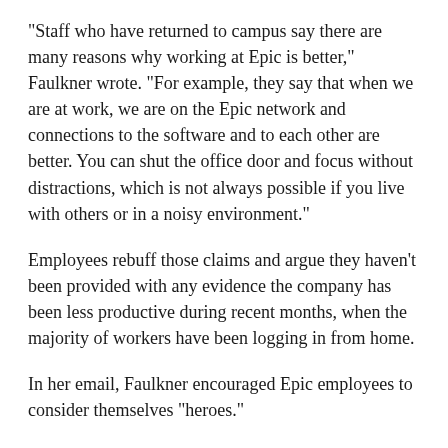"Staff who have returned to campus say there are many reasons why working at Epic is better," Faulkner wrote. "For example, they say that when we are at work, we are on the Epic network and connections to the software and to each other are better. You can shut the office door and focus without distractions, which is not always possible if you live with others or in a noisy environment."
Employees rebuff those claims and argue they haven't been provided with any evidence the company has been less productive during recent months, when the majority of workers have been logging in from home.
In her email, Faulkner encouraged Epic employees to consider themselves "heroes."
"You have heard us say many times that our customers are heroes, and we are heroes helping heroes," she wrote. "It's not easy to be a hero."